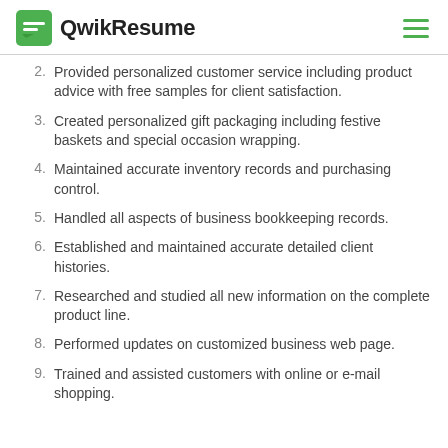QwikResume
2. Provided personalized customer service including product advice with free samples for client satisfaction.
3. Created personalized gift packaging including festive baskets and special occasion wrapping.
4. Maintained accurate inventory records and purchasing control.
5. Handled all aspects of business bookkeeping records.
6. Established and maintained accurate detailed client histories.
7. Researched and studied all new information on the complete product line.
8. Performed updates on customized business web page.
9. Trained and assisted customers with online or e-mail shopping.